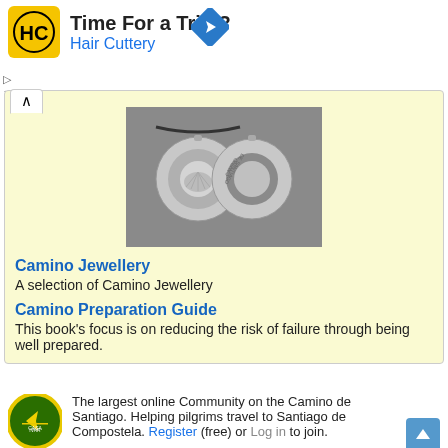[Figure (logo): Hair Cuttery HC logo on yellow background]
Time For a Trim?
Hair Cuttery
[Figure (illustration): Camino de Santiago shell medallion jewellery - two silver pendants on a cord]
Camino Jewellery
A selection of Camino Jewellery
Camino Preparation Guide
This book's focus is on reducing the risk of failure through being well prepared.
[Figure (logo): IVAR / Casa logo - green circle with yellow arrow pointing left]
The largest online Community on the Camino de Santiago. Helping pilgrims travel to Santiago de Compostela. Register (free) or Log in to join.